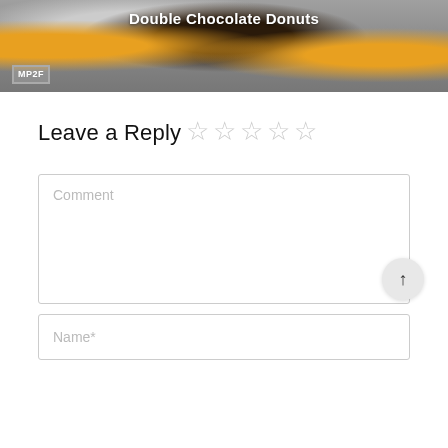[Figure (photo): Header image showing chocolate donuts and orange slices on a light surface, with an MPOF logo in the bottom-left corner. Text 'Double Chocolate Donuts' overlaid at the top.]
Leave a Reply
[Figure (other): Five empty star rating icons (outline only, no fill), representing a zero-star rating input.]
Comment
Name*